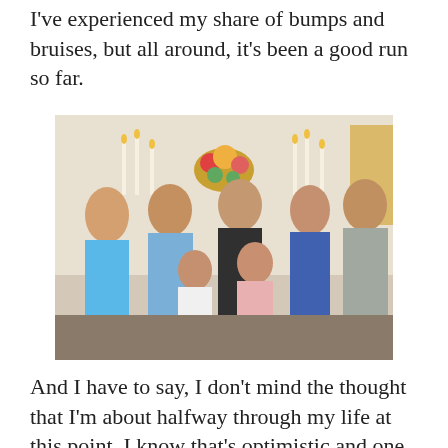I've experienced my share of bumps and bruises, but all around, it's been a good run so far.
[Figure (photo): A family group photo taken inside a church. Seven people are posing together: a teenage girl in a blue dress on the left, a man in a light blue shirt, a young boy in a striped shirt, a woman with dark hair smiling, a boy in a pink plaid shirt in the center front, a teenage girl with long brown hair in a colorful top, and a young man in a gray shirt on the right. Church candles and a floral arrangement are visible in the background.]
And I have to say, I don't mind the thought that I'm about halfway through my life at this point. I know that's optimistic and one day I might find